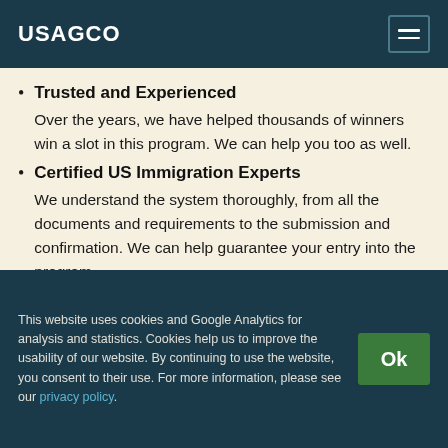USAGCO
Trusted and Experienced
Over the years, we have helped thousands of winners win a slot in this program. We can help you too as well.
Certified US Immigration Experts
We understand the system thoroughly, from all the documents and requirements to the submission and confirmation. We can help guarantee your entry into the program.
Professional Guidance and Support
As your experienced assistants, we can provide you with professional guidance and help check and optimize your
This website uses cookies and Google Analytics for analysis and statistics. Cookies help us to improve the usability of our website. By continuing to use the website, you consent to their use. For more information, please see our privacy policy.